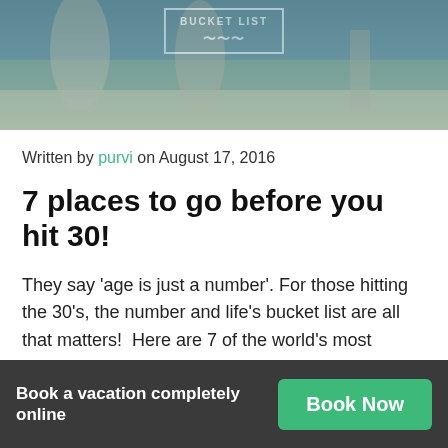[Figure (photo): Beach scene hero image with people and sand sculptures, with a 'BUCKET LIST' badge/emblem overlaid in white on a dark-tinted background.]
Written by purvi on August 17, 2016
7 places to go before you hit 30!
They say 'age is just a number'. For those hitting the 30's, the number and life's bucket list are all that matters!  Here are 7 of the world's most happening destinations to visit before you cross 30. And the best way to start on that bucket list!
Book a vacation completely online
Book Now